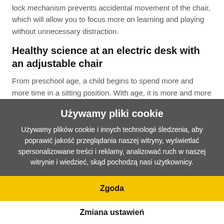lock mechanism prevents accidental movement of the chair, which will allow you to focus more on learning and playing without unnecessary distraction.
Healthy science at an electric desk with an adjustable chair
From preschool age, a child begins to spend more and more time in a sitting position. With age, it is more and more time spent with homework and games. If we add the time spent at school to this, it turns out that the child
Używamy pliki cookie
Używamy plików cookie i innych technologii śledzenia, aby poprawić jakość przeglądania naszej witryny, wyświetlać spersonalizowane treści i reklamy, analizować ruch w naszej witrynie i wiedzieć, skąd pochodzą nasi użytkownicy.
Zgoda
Zmiana ustawień